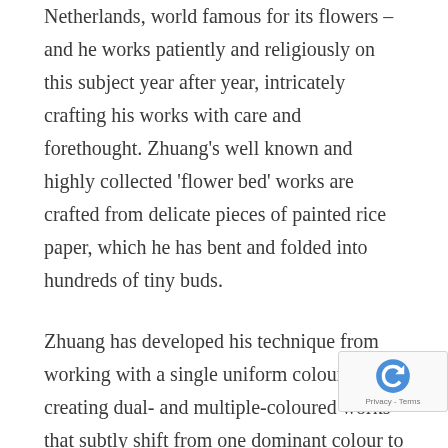Netherlands, world famous for its flowers – and he works patiently and religiously on this subject year after year, intricately crafting his works with care and forethought. Zhuang's well known and highly collected 'flower bed' works are crafted from delicate pieces of painted rice paper, which he has bent and folded into hundreds of tiny buds.
Zhuang has developed his technique from working with a single uniform colour to creating dual- and multiple-coloured works that subtly shift from one dominant colour to another as you move your body and eyes from one side of the work to the other, adding movement, contrast and surprise to the works.